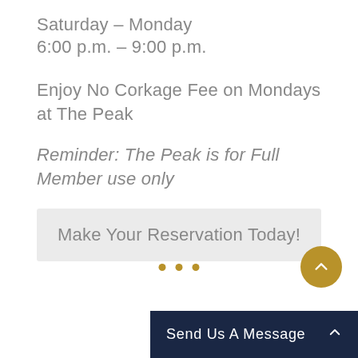Saturday – Monday
6:00 p.m. – 9:00 p.m.
Enjoy No Corkage Fee on Mondays at The Peak
Reminder: The Peak is for Full Member use only
Make Your Reservation Today!
[Figure (other): Three decorative gold dots separator]
[Figure (other): Gold circular back-to-top arrow button]
Send Us A Message